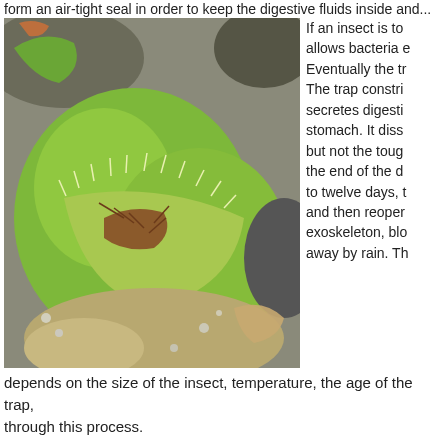form an air-tight seal in order to keep the digestive fluids inside and...
[Figure (photo): Close-up photograph of a Venus Flytrap (Dionaea muscipula) with its trap closed around an insect, showing green lobes with spiky cilia margins against a gravel/soil background.]
If an insect is to allows bacteria e Eventually the tr The trap constri secretes digesti stomach. It diss but not the toug the end of the d to twelve days, t and then reoper exoskeleton, blo away by rain. Th
depends on the size of the insect, temperature, the age of the trap, through this process.
If you feed a Venus Flytrap something that doesn't move, e.g., a dea around so it imitates the action of a live insect.
The lobe manufactures digestive juices and an antiseptic juice. This captures.
People still do not understand fully how the trap closes. The Venus' nervous system or any muscles or tendons. Scientists theorize that